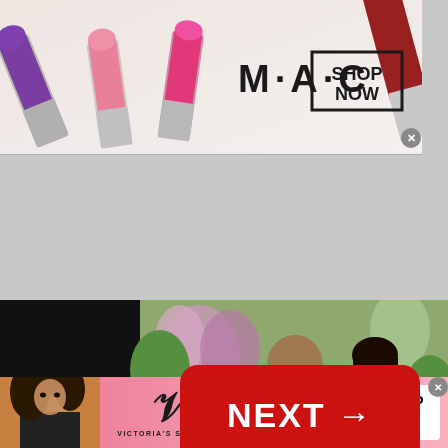[Figure (photo): MAC Cosmetics advertisement banner featuring colorful lipsticks (purple, pink, hot pink) on the left, MAC logo in center, SHOP NOW box, and a red lipstick on the right with a close button]
[Figure (photo): Gray empty content area]
[Figure (photo): Celebrity couple photo (man in white embroidered sherwani, woman in silver outfit) against floral backdrop, with a red NEXT arrow button on the right and 'Trending For You Today' bar at bottom]
[Figure (photo): Victoria's Secret advertisement banner with model on left, Victoria's Secret logo, SHOP THE COLLECTION text, and white SHOP NOW button, with close button at top right]